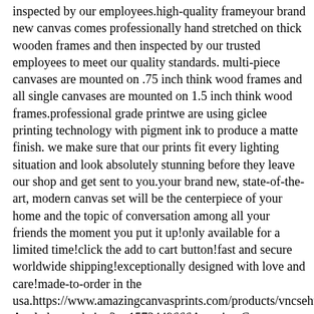inspected by our employees.high-quality frameyour brand new canvas comes professionally hand stretched on thick wooden frames and then inspected by our trusted employees to meet our quality standards. multi-piece canvases are mounted on .75 inch think wood frames and all single canvases are mounted on 1.5 inch think wood frames.professional grade printwe are using giclee printing technology with pigment ink to produce a matte finish. we make sure that our prints fit every lighting situation and look absolutely stunning before they leave our shop and get sent to you.your brand new, state-of-the-art, modern canvas set will be the centerpiece of your home and the topic of conversation among all your friends the moment you put it up!only available for a limited time!click the add to cart button!fast and secure worldwide shipping!exceptionally designed with love and care!made-to-order in the usa.https://www.amazingcanvasprints.com/products/vncsehttps://cdn5P-Angled_grande.jpg?v=1573449666Amazing Canvas Prints new 1535183388695in stockHome & Garden > Decor > Artwork > Posters, Prints, & Visual ArtworkCustom Label 0 is emptyCustom Label 1 is emptyCustom Label 2 is emptyCustom Label 3 is emptyMulti Piece Canvas Print,NauticalMulti Piece Canvas Print,Nautical 89.95USD 1338088390679Loved you then personalized premium couples canvas Add awe-inspiring beauty to your home or office. this beautiful piece will look stunning on your wall!take your empty walls to the next level!elevate and beautify